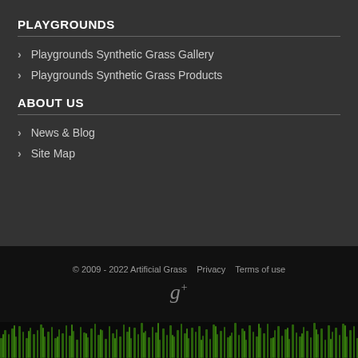PLAYGROUNDS
Playgrounds Synthetic Grass Gallery
Playgrounds Synthetic Grass Products
ABOUT US
News & Blog
Site Map
© 2009 - 2022 Artificial Grass    Privacy    Terms of use
[Figure (logo): Google+ icon (g+ symbol)]
[Figure (photo): Green grass lawn at the bottom of the page]